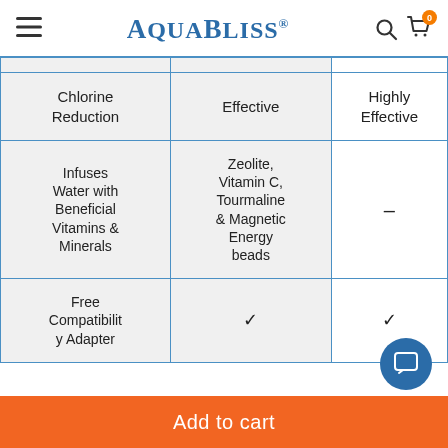AquaBliss
|  | SF220 | SF500 (Premium) |
| --- | --- | --- |
| Chlorine Reduction | Effective | Highly Effective |
| Infuses Water with Beneficial Vitamins & Minerals | Zeolite, Vitamin C, Tourmaline & Magnetic Energy beads | – |
| Free Compatibility Adapter | ✓ | ✓ |